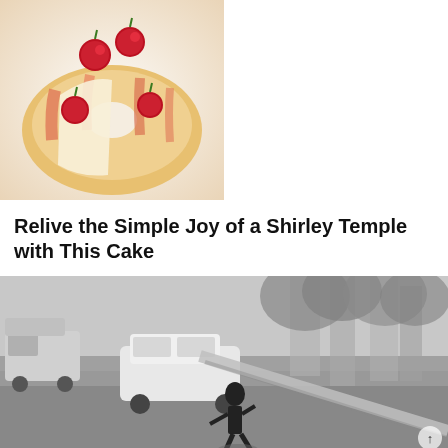[Figure (photo): Two photos of Shirley Temple cake with red cherries on top and glazed bundt-style cake slices, one on the left showing close-up slices with pink glaze, one on the right showing a whole mini cake with cherry topping and caramel glaze]
↕ 0 Votes
Relive the Simple Joy of a Shirley Temple with This Cake
[Figure (photo): Black and white security camera or surveillance footage showing a street scene with a person standing in the road, a white car, vans parked on the left, and trees on the right, with a fallen pole or object visible]